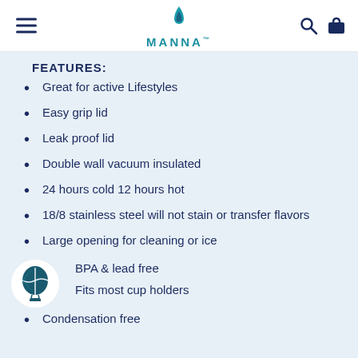MANNA
FEATURES:
Great for active Lifestyles
Easy grip lid
Leak proof lid
Double wall vacuum insulated
24 hours cold 12 hours hot
18/8 stainless steel will not stain or transfer flavors
Large opening for cleaning or ice
BPA & lead free
Fits most cup holders
Condensation free